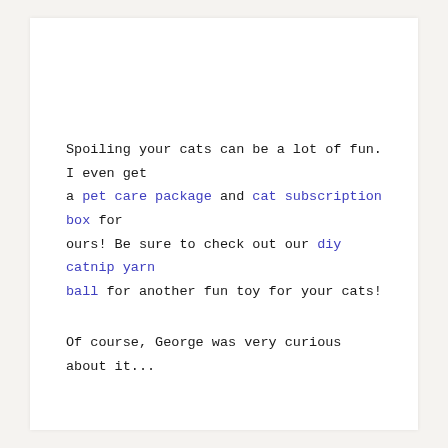Spoiling your cats can be a lot of fun. I even get a pet care package and cat subscription box for ours! Be sure to check out our diy catnip yarn ball for another fun toy for your cats!
Of course, George was very curious about it...